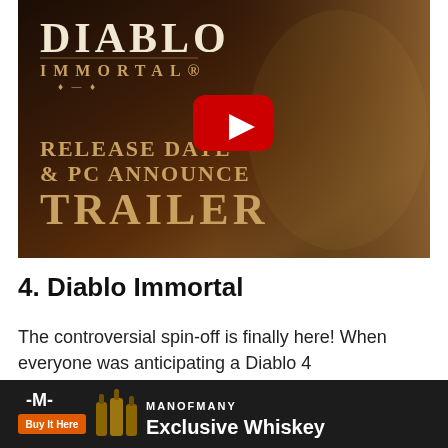[Figure (screenshot): Diablo Immortal Release Date & PC Announce Trailer YouTube video thumbnail with play button. Dark fantasy background with armored character. Shows 'DIABLO IMMORTAL' logo, 'RELEASE DATE & PC ANNOUNCE TRAILER' text in gold, and a red YouTube play button in the center.]
4. Diablo Immortal
The controversial spin-off is finally here! When everyone was anticipating a Diablo 4 announcement, Blizzard revealed Diablo Immortal, a smartphone action RPG with an original story set between the events of Diablo ... as Diablo ... to
[Figure (screenshot): Advertisement banner for Man of Many Exclusive Whiskey with logo, whiskey bottle images, 'Buy It Here' orange button, and 'MANOFMANY Exclusive Whiskey' text.]